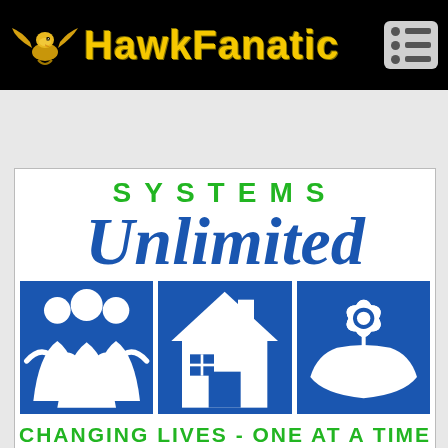HawkFanatic
[Figure (logo): Systems Unlimited logo with SYSTEMS text in green, Unlimited in blue italic serif, three blue icon boxes (people, house, flower/hand), and tagline CHANGING LIVES - ONE AT A TIME in green]
CHANGING LIVES - ONE AT A TIME